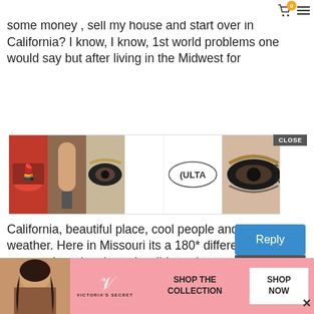job, pay off my house, or should I get my cdi, stack some money , sell my house and start over in California? I know, I know, 1st world problems one would say but after living in the Midwest for
[Figure (screenshot): ULTA Beauty advertisement showing makeup photos (lips, eye shadow, brush) alongside ULTA logo and SHOP NOW button with CLOSE overlay]
California, beautiful place, cool people and awesome weather. Here in Missouri its a 180* difference, most of my stay here has been horrible, only moved because it was cheap. Sometimes its worth it to shell out more money for a better product. Most everyone here is so close minded and decades behind. Good luck in your decision.
[Figure (screenshot): Reply button (blue) with CLOSE overlay below it]
[Figure (screenshot): Victoria's Secret advertisement with pink background showing a woman, Victoria's Secret logo, SHOP THE COLLECTION text, and SHOP NOW button]